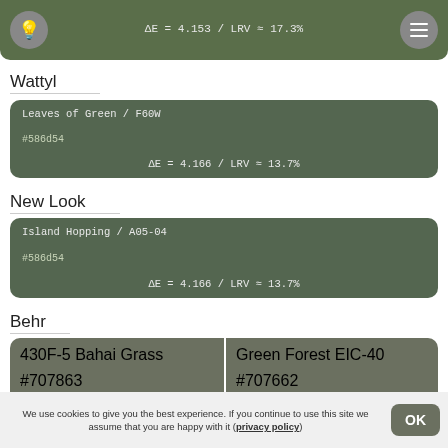Calke Green / 34
#6c8854
ΔE = 4.153 / LRV ≈ 17.3%
Wattyl
Leaves of Green / F60W
#586d54
ΔE = 4.166 / LRV ≈ 13.7%
New Look
Island Hopping / A05-04
#586d54
ΔE = 4.166 / LRV ≈ 13.7%
Behr
430F-5 Bahai Grass
#707863
ΔE = 4.186 / LRV ≈ 17.8%
Green Forest EIC-40
#707662
ΔE = 4.658 / LRV ≈ 17.3%
We use cookies to give you the best experience. If you continue to use this site we assume that you are happy with it (privacy policy)